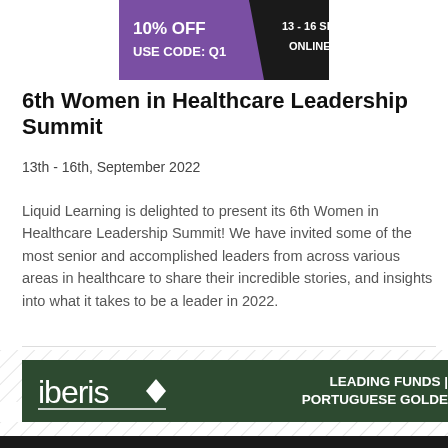[Figure (infographic): Promotional banner with purple and black triangular design. Text reads '10% OFF USE CODE: Q1' on purple background and '13 - 16 SEPT ONLINE' on black background.]
6th Women in Healthcare Leadership Summit
13th - 16th, September 2022
Liquid Learning is delighted to present its 6th Women in Healthcare Leadership Summit! We have invited some of the most senior and accomplished leaders from across various areas in healthcare to share their incredible stories, and insights into what it takes to be a leader in 2022.
[Figure (infographic): Iberis logo with diamond icon on dark green background, with text 'LEADING FUNDS | PORTUGUESE GOLDE' on the right side.]